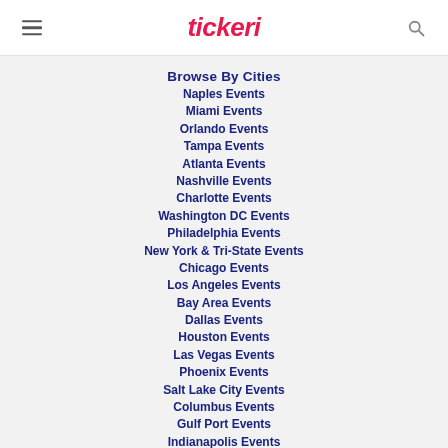tickeri
Browse By Cities
Naples Events
Miami Events
Orlando Events
Tampa Events
Atlanta Events
Nashville Events
Charlotte Events
Washington DC Events
Philadelphia Events
New York & Tri-State Events
Chicago Events
Los Angeles Events
Bay Area Events
Dallas Events
Houston Events
Las Vegas Events
Phoenix Events
Salt Lake City Events
Columbus Events
Gulf Port Events
Indianapolis Events
St. Louis Events
Browse By Countries
United States
Canada (coming soon)
Puerto Rico (coming soon)
Mexico (coming soon)
Peru (coming soon)
Colombia (coming soon)
Chile (coming soon)